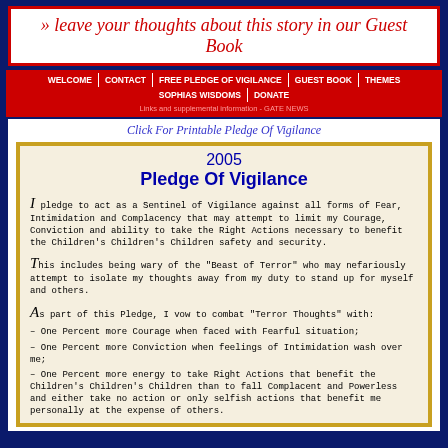» leave your thoughts about this story in our Guest Book
WELCOME | CONTACT | FREE PLEDGE OF VIGILANCE | GUEST BOOK | THEMES | SOPHIAS WISDOMS | DONATE
Click For Printable Pledge Of Vigilance
2005 Pledge Of Vigilance
I pledge to act as a Sentinel of Vigilance against all forms of Fear, Intimidation and Complacency that may attempt to limit my Courage, Conviction and ability to take the Right Actions necessary to benefit the Children's Children's Children safety and security.
This includes being wary of the "Beast of Terror" who may nefariously attempt to isolate my thoughts away from my duty to stand up for myself and others.
As part of this Pledge, I vow to combat "Terror Thoughts" with:
– One Percent more Courage when faced with Fearful situation;
– One Percent more Conviction when feelings of Intimidation wash over me;
– One Percent more energy to take Right Actions that benefit the Children's Children's Children than to fall Complacent and Powerless and either take no action or only selfish actions that benefit me personally at the expense of others.